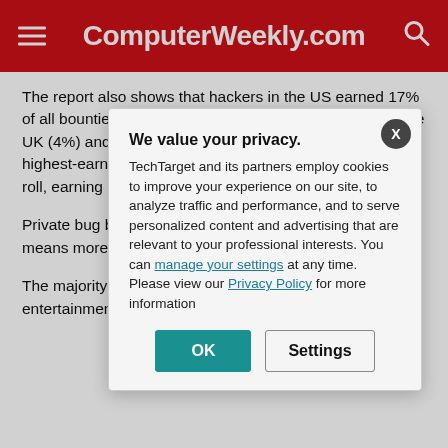ComputerWeekly.com
The report also shows that hackers in the US earned 17% of all bounties awarded, with India (13%), Russia (6%), the UK (4%) and Germany (3%) rounding out the top five highest-earning countries. Hackers in Germany are on a roll, earning 157% more in 2017 than in 2016.
Private bug boun... 79% of all bug b... down from 88%... means more pro... HackerOne.
The majority of p... from the techno... services and ba... entertainment (9... programmes are...
[Figure (screenshot): Privacy consent modal dialog with title 'We value your privacy.' containing text about TechTarget and partners using cookies, links to manage settings and Privacy Policy, and OK and Settings buttons.]